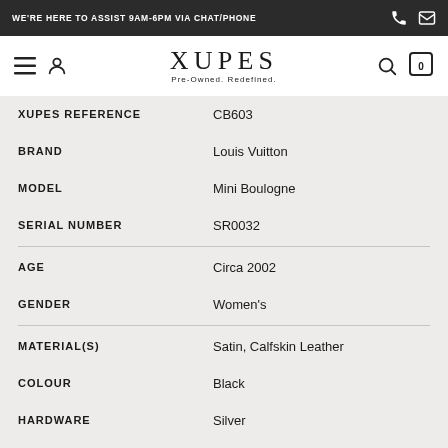WE'RE HERE TO ASSIST 9AM-6PM VIA CHAT/PHONE
[Figure (logo): XUPES Pre-Owned. Redefined. logo with navigation icons (hamburger menu, user, search, cart)]
| Field | Value |
| --- | --- |
| XUPES REFERENCE | CB603 |
| BRAND | Louis Vuitton |
| MODEL | Mini Boulogne |
| SERIAL NUMBER | SR0032 |
| AGE | Circa 2002 |
| GENDER | Women's |
| MATERIAL(S) | Satin, Calfskin Leather |
| COLOUR | Black |
| HARDWARE | Silver |
| INTERIOR | Black Satin |
| CLOSURE | Zip |